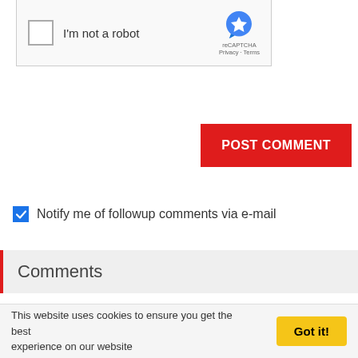[Figure (screenshot): reCAPTCHA widget with checkbox labeled 'I'm not a robot' and reCAPTCHA logo with Privacy and Terms links]
POST COMMENT
Notify me of followup comments via e-mail
Comments
3 Bhk On Dwarka Expressway
2 months ago
If some one needs expert view concerning blogging then i propose him/her to visit this weblog,
Keep up the nice job.
REPLY
This website uses cookies to ensure you get the best experience on our website
Got it!